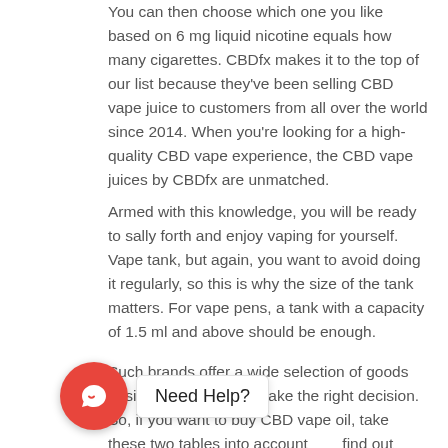You can then choose which one you like based on 6 mg liquid nicotine equals how many cigarettes. CBDfx makes it to the top of our list because they've been selling CBD vape juice to customers from all over the world since 2014. When you're looking for a high-quality CBD vape experience, the CBD vape juices by CBDfx are unmatched.
Armed with this knowledge, you will be ready to sally forth and enjoy vaping for yourself. Vape tank, but again, you want to avoid doing it regularly, so this is why the size of the tank matters. For vape pens, a tank with a capacity of 1.5 ml and above should be enough.
Such brands offer a wide selection of goods designed to help you make the right decision. So, if you want to buy CBD vape oil, take these two tables into account find out what strength will be ideal for you. As an exa... 0 lbs and looking forward to getting a mild effect, 17 mg of CBD is enough for you. You just need 6 puffs of 500 mg CBD vape juice or 10
[Figure (other): Chat widget with red circular icon showing a chat bubble symbol, and a 'Need Help?' label to the right]